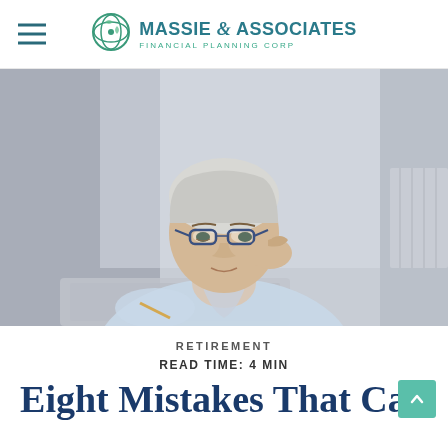Massie & Associates Financial Planning Corp
[Figure (photo): Middle-aged woman with short white/silver hair and blue-framed glasses, wearing a light blue shirt, adjusting her glasses while looking at a laptop screen. Office environment background.]
RETIREMENT
READ TIME: 4 MIN
Eight Mistakes That Can